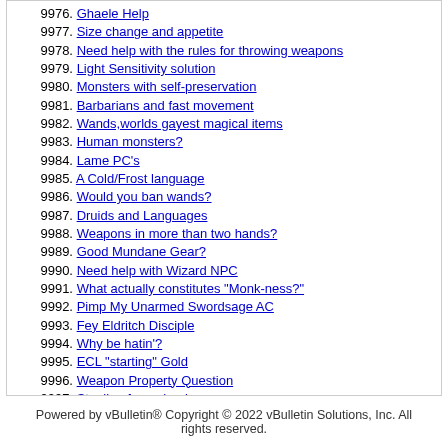9976. Ghaele Help
9977. Size change and appetite
9978. Need help with the rules for throwing weapons
9979. Light Sensitivity solution
9980. Monsters with self-preservation
9981. Barbarians and fast movement
9982. Wands,worlds gayest magical items
9983. Human monsters?
9984. Lame PC's
9985. A Cold/Frost language
9986. Would you ban wands?
9987. Druids and Languages
9988. Weapons in more than two hands?
9989. Good Mundane Gear?
9990. Need help with Wizard NPC
9991. What actually constitutes "Monk-ness?"
9992. Pimp My Unarmed Swordsage AC
9993. Fey Eldritch Disciple
9994. Why be hatin'?
9995. ECL "starting" Gold
9996. Weapon Property Question
9997. Stealing from shopkeepers...
9998. Minor 4e Change:
9999. Captain Average
10000. Attacks of Opportunity And Other Combat Stuff
Powered by vBulletin® Copyright © 2022 vBulletin Solutions, Inc. All rights reserved.